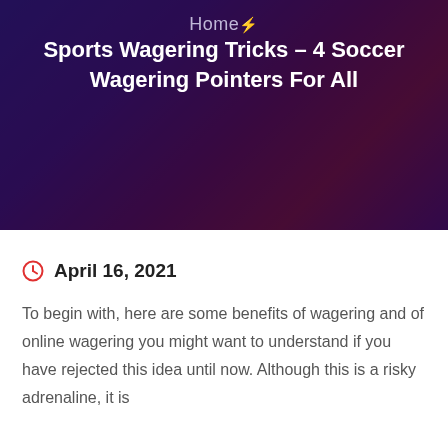Home
Sports Wagering Tricks – 4 Soccer Wagering Pointers For All
[Figure (photo): Dark blurred background image with purple and red hues, showing a silhouette of a person's head in the center, behind navigation and title text]
April 16, 2021
To begin with, here are some benefits of wagering and of online wagering you might want to understand if you have rejected this idea until now. Although this is a risky adrenaline, it is